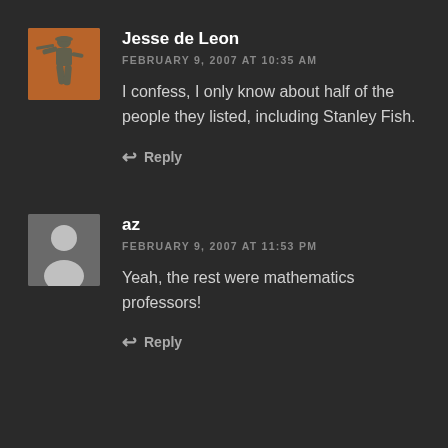[Figure (photo): Avatar image of a toy soldier figurine on orange/brown background]
Jesse de Leon
FEBRUARY 9, 2007 AT 10:35 AM
I confess, I only know about half of the people they listed, including Stanley Fish.
Reply
[Figure (illustration): Default grey avatar with person silhouette]
az
FEBRUARY 9, 2007 AT 11:53 PM
Yeah, the rest were mathematics professors!
Reply